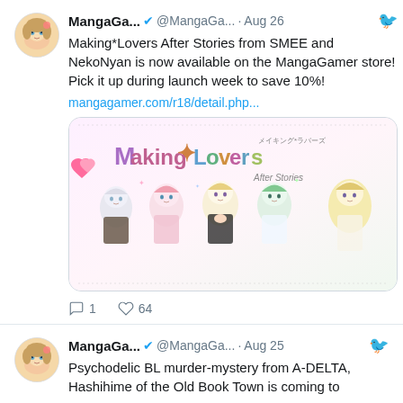MangaGa... @MangaGa... · Aug 26
Making*Lovers After Stories from SMEE and NekoNyan is now available on the MangaGamer store! Pick it up during launch week to save 10%!
mangagamer.com/r18/detail.php...
[Figure (illustration): Making*Lovers After Stories game banner with colorful title logo and five anime girls with different hair colors]
1  64
MangaGa... @MangaGa... · Aug 25
Psychodelic BL murder-mystery from A-DELTA, Hashihime of the Old Book Town is coming to